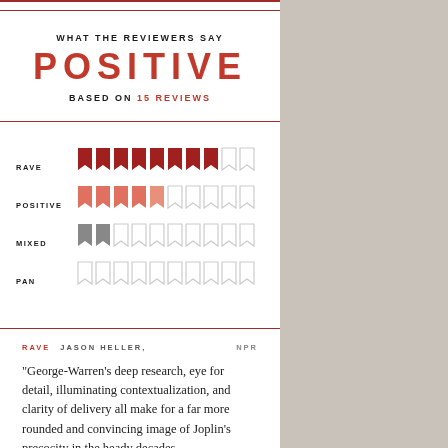WHAT THE REVIEWERS SAY
POSITIVE
BASED ON 15 REVIEWS
[Figure (infographic): Rating breakdown using flag/bookmark icons: RAVE (8 filled red flags, 2 empty), POSITIVE (5 filled salmon/orange flags, 5 empty), MIXED (2 filled gray flags, 8 empty), PAN (0 filled, 10 empty)]
RAVE   JASON HELLER,   NPR
“George-Warren’s deep research, eye for detail, illuminating contextualization, and clarity of delivery all make for a far more rounded and convincing image of Joplin’s precocity in the heady decades